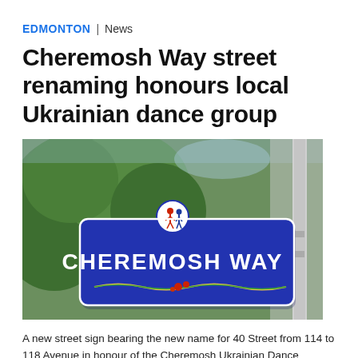EDMONTON | News
Cheremosh Way street renaming honours local Ukrainian dance group
[Figure (photo): A blue street sign reading 'CHEREMOSH WAY' with a Ukrainian dancer logo at the top, mounted on a pole with green trees in the background.]
A new street sign bearing the new name for 40 Street from 114 to 118 Avenue in honour of the Cheremosh Ukrainian Dance Company (CTV News Edmonton/Dave Mitchell)